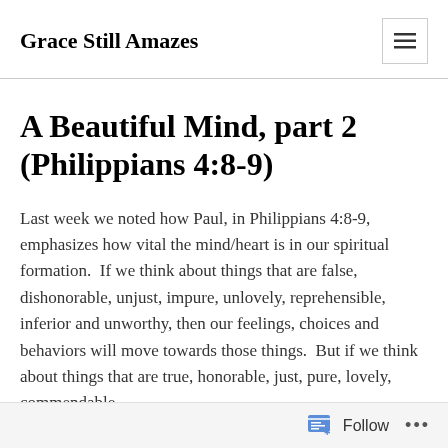Grace Still Amazes
A Beautiful Mind, part 2 (Philippians 4:8-9)
Last week we noted how Paul, in Philippians 4:8-9, emphasizes how vital the mind/heart is in our spiritual formation.  If we think about things that are false, dishonorable, unjust, impure, unlovely, reprehensible, inferior and unworthy, then our feelings, choices and behaviors will move towards those things.  But if we think about things that are true, honorable, just, pure, lovely, commendable,
Follow